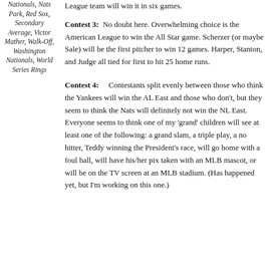Nationals, Nats Park, Red Sox, Secondary Average, Victor Mather, Walk-Off, Washington Nationals, World Series Rings
Contest 3: No doubt here. Overwhelming choice is the American League to win the All Star game. Scherzer (or maybe Sale) will be the first pitcher to win 12 games. Harper, Stanton, and Judge all tied for first to hit 25 home runs.
Contest 4: Contestants split evenly between those who think the Yankees will win the AL East and those who don't, but they seem to think the Nats will definitely not win the NL East. Everyone seems to think one of my 'grand' children will see at least one of the following: a grand slam, a triple play, a no hitter, Teddy winning the President's race, will go home with a foul ball, will have his/her pix taken with an MLB mascot, or will be on the TV screen at an MLB stadium. (Has happened yet, but I'm working on this one.)